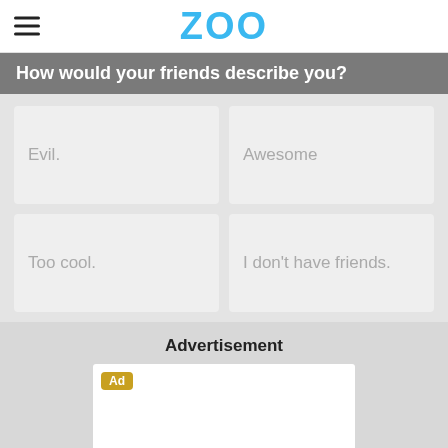ZOO
How would your friends describe you?
Evil.
Awesome
Too cool.
I don't have friends.
Advertisement
[Figure (other): Advertisement placeholder with Ad badge]